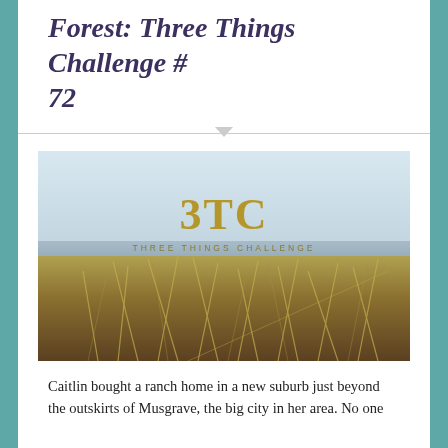Forest: Three Things Challenge # 72
[Figure (logo): 3TC Three Things Challenge logo overlaid on a beach/coastal landscape photo with dune grass in the foreground and sea/sky in background]
Caitlin bought a ranch home in a new suburb just beyond the outskirts of Musgrave, the big city in her area. No one shared her enthusiasm for this opportunity. She was going to have to